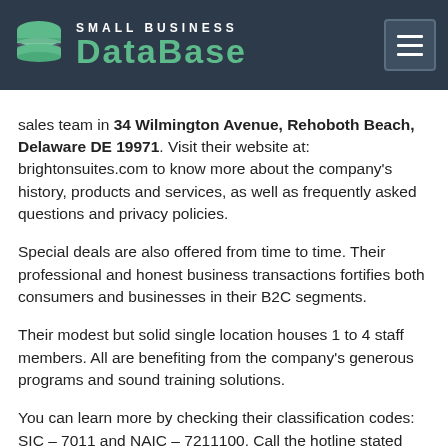SMALL BUSINESS DATABASE
sales team in 34 Wilmington Avenue, Rehoboth Beach, Delaware DE 19971. Visit their website at: brightonsuites.com to know more about the company's history, products and services, as well as frequently asked questions and privacy policies.
Special deals are also offered from time to time. Their professional and honest business transactions fortifies both consumers and businesses in their B2C segments.
Their modest but solid single location houses 1 to 4 staff members. All are benefiting from the company's generous programs and sound training solutions.
You can learn more by checking their classification codes: SIC – 7011 and NAIC – 7211100. Call the hotline stated above for faster transaction and queries. Brighton Suites Hotel would like to hear from you.